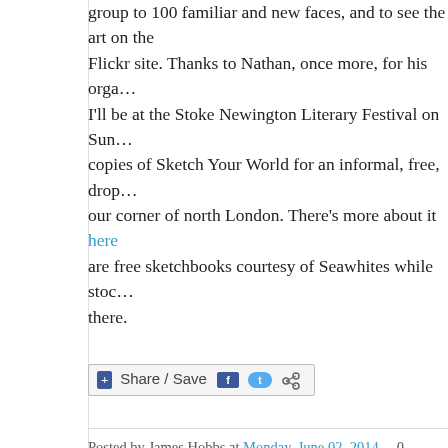group to 100 familiar and new faces, and to see the art on the Flickr site. Thanks to Nathan, once more, for his organ... I'll be at the Stoke Newington Literary Festival on Sun... copies of Sketch Your World for an informal, free, drop... our corner of north London. There's more about it here are free sketchbooks courtesy of Seawhites while stoc... there.
[Figure (other): Share / Save button with Facebook and Twitter icons]
Posted by James Hobbs at Monday, June 02, 2014   0 commen...
Labels: barbican centre, james hobbs, old street, shoreditch, ske...
Location: City of London, Greater London, UK
Sunday, 25 May 2014
Old Street to Shoreditch Sketchcrawl pho...
Thanks to everyone who came yesterday. I thought the... fairly safe with the weather but no - so sorry it was a b...